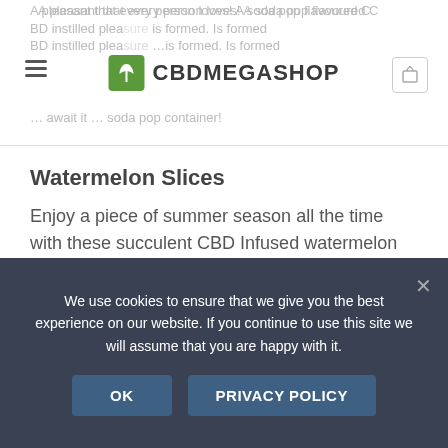A pleasant that every person loves! A soda pop flavoured CBD instilled pleasure is formed. Is formed … await it … soda pop container!
Watermelon Slices
Enjoy a piece of summer season all the time with these succulent CBD Infused watermelon gummies. Moorish cuties used all-natural colours as well as flavours, simply attempt not to consume them done in one resting.
Ingredients:
Broad Spectrum CBD, Sugar, Glucose Syrup, Wheat Starch, Water, Modified Maize Starch, Acids: Lactic Acid, Citric Acid,
We use cookies to ensure that we give you the best experience on our website. If you continue to use this site we will assume that you are happy with it.